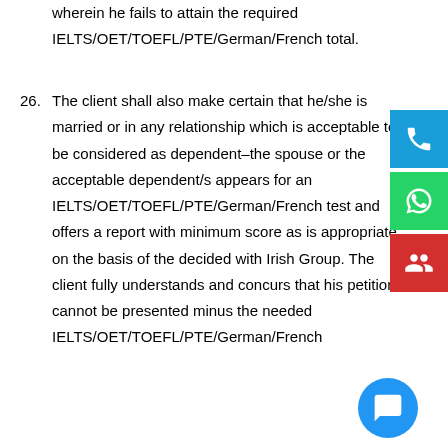wherein he fails to attain the required IELTS/OET/TOEFL/PTE/German/French total.
26. The client shall also make certain that he/she is married or in any relationship which is acceptable to be considered as dependent–the spouse or the acceptable dependent/s appears for an IELTS/OET/TOEFL/PTE/German/French test and offers a report with minimum score as is appropriate on the basis of the decided with Irish Group. The client fully understands and concurs that his petition cannot be presented minus the needed IELTS/OET/TOEFL/PTE/German/French